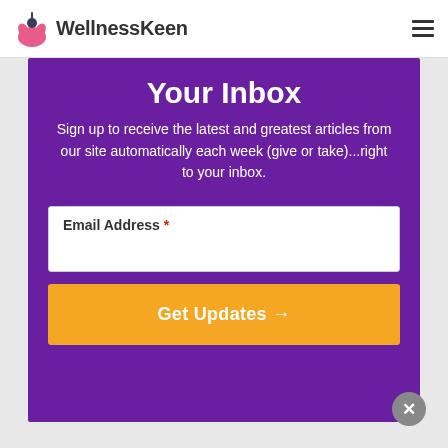WellnessKeen
Your Inbox
Sign up to receive the latest and greatest articles from our site automatically each week (give or take)...right to your inbox.
Email Address *
Get Updates →